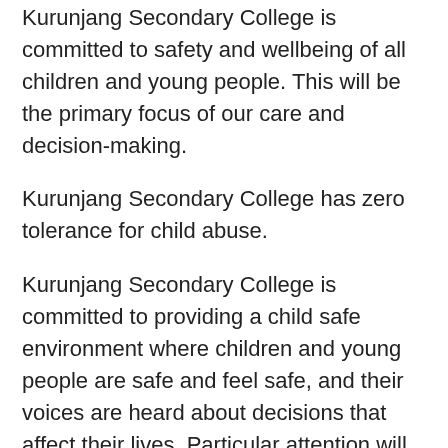Kurunjang Secondary College is committed to safety and wellbeing of all children and young people. This will be the primary focus of our care and decision-making.
Kurunjang Secondary College has zero tolerance for child abuse.
Kurunjang Secondary College is committed to providing a child safe environment where children and young people are safe and feel safe, and their voices are heard about decisions that affect their lives. Particular attention will be paid to the cultural safety of Aboriginal children and children from culturally and/or linguistically diverse backgrounds, as well as the safety of children with a disability.
Every person involved in Kurunjang Secondary